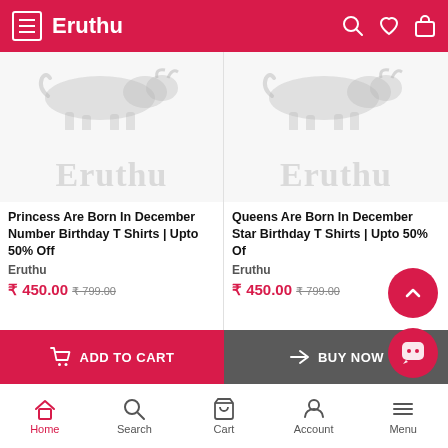Eruthu
[Figure (screenshot): Eruthu e-commerce product listing page showing two birthday t-shirt products]
Princess Are Born In December Number Birthday T Shirts | Upto 50% Off
Eruthu
₹ 450.00 ₹799.00
Queens Are Born In December Star Birthday T Shirts | Upto 50% Of
Eruthu
₹ 450.00 ₹799.00
ADD TO CART   BUY NOW   Home   Search   Cart   Account   Menu